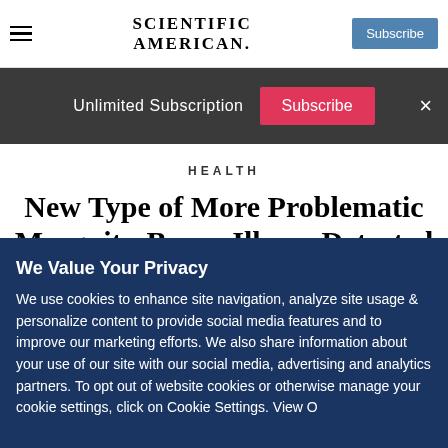SCIENTIFIC AMERICAN
Unlimited Subscription  Subscribe  ×
HEALTH
New Type of More Problematic Mosquito-Borne Illness Detected in Brazil
We Value Your Privacy
We use cookies to enhance site navigation, analyze site usage & personalize content to provide social media features and to improve our marketing efforts. We also share information about your use of our site with our social media, advertising and analytics partners. To opt out of website cookies or otherwise manage your cookie settings, click on Cookie Settings. View O